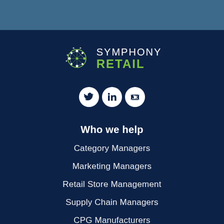[Figure (logo): Symphony Retail logo with network globe icon in teal/green and white text 'SYMPHONY RETAIL']
[Figure (infographic): Three social media icon circles: Twitter bird, LinkedIn 'in', YouTube play button]
Who we help
Category Managers
Marketing Managers
Retail Store Management
Supply Chain Managers
CPG Manufacturers